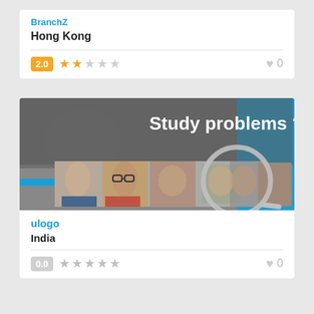BranchZ
Hong Kong
2.0 ★★☆☆☆  0
[Figure (photo): Banner image showing study-themed photo with students' faces under a magnifying glass and text 'Study problems?' overlaid. Blue accents on the right side.]
ulogo
India
0.0 ☆☆☆☆☆  0